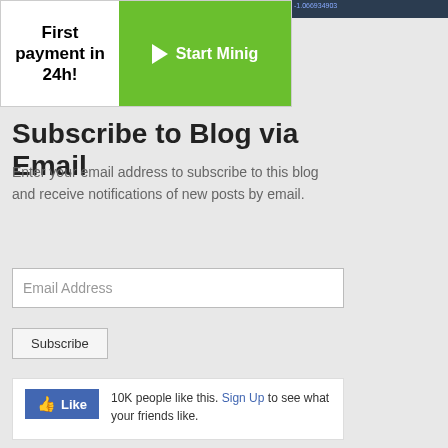[Figure (screenshot): Dark UI screenshot strip at top right]
[Figure (infographic): Ad banner: 'First payment in 24h!' with green Start Mining button]
Subscribe to Blog via Email
Enter your email address to subscribe to this blog and receive notifications of new posts by email.
Email Address (input field placeholder)
Subscribe (button)
[Figure (screenshot): Facebook Like widget: 10K people like this. Sign Up to see what your friends like.]